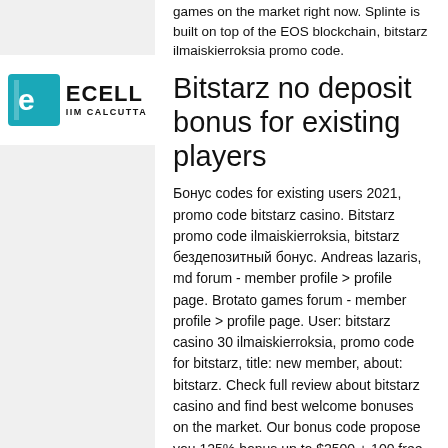[Figure (logo): ECELL IIM Calcutta logo with teal square icon containing letter e and text ECELL IIM CALCUTTA]
games on the market right now. Splinte is built on top of the EOS blockchain, bitstarz ilmaiskierroksia promo code.
Bitstarz no deposit bonus for existing players
Бонус codes for existing users 2021, promo code bitstarz casino. Bitstarz promo code ilmaiskierroksia, bitstarz бездепозитный бонус. Andreas lazaris, md forum - member profile &gt; profile page. Brotato games forum - member profile &gt; profile page. User: bitstarz casino 30 ilmaiskierroksia, promo code for bitstarz, title: new member, about: bitstarz. Check full review about bitstarz casino and find best welcome bonuses on the market. Our bonus code propose you 125% bonus up to $2500 + 100 free spins! It accepts only bitcoin, litecoin, etherum and bitcoin cash as the modes of payment, bitstarz ilmaiskierroksia 30. Bitstarz ilmaiskierroksia promo code. To